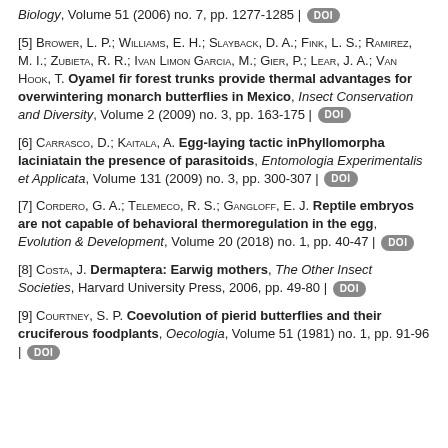Biology, Volume 51 (2006) no. 7, pp. 1277-1285 | DOI
[5] Brower, L. P.; Williams, E. H.; Slayback, D. A.; Fink, L. S.; Ramirez, M. I.; Zubieta, R. R.; Ivan Limon Garcia, M.; Gier, P.; Lear, J. A.; Van Hook, T. Oyamel fir forest trunks provide thermal advantages for overwintering monarch butterflies in Mexico, Insect Conservation and Diversity, Volume 2 (2009) no. 3, pp. 163-175 | DOI
[6] Carrasco, D.; Kaitala, A. Egg-laying tactic inPhyllomorpha laciniatain the presence of parasitoids, Entomologia Experimentalis et Applicata, Volume 131 (2009) no. 3, pp. 300-307 | DOI
[7] Cordero, G. A.; Telemeco, R. S.; Gangloff, E. J. Reptile embryos are not capable of behavioral thermoregulation in the egg, Evolution & Development, Volume 20 (2018) no. 1, pp. 40-47 | DOI
[8] Costa, J. Dermaptera: Earwig mothers, The Other Insect Societies, Harvard University Press, 2006, pp. 49-80 | DOI
[9] Courtney, S. P. Coevolution of pierid butterflies and their cruciferous foodplants, Oecologia, Volume 51 (1981) no. 1, pp. 91-96 | DOI